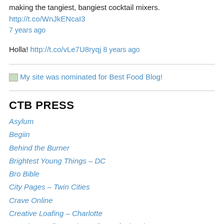making the tangiest, bangiest cocktail mixers. http://t.co/WnJkENcaI3 7 years ago
Holla! http://t.co/vLe7U8ryqj 8 years ago
[Figure (other): Broken image placeholder with text: My site was nominated for Best Food Blog!]
CTB PRESS
Asylum
Begiin
Behind the Burner
Brightest Young Things – DC
Bro Bible
City Pages – Twin Cities
Crave Online
Creative Loafing – Charlotte
Creative Loafing – The Daily Loaf w/ podcast